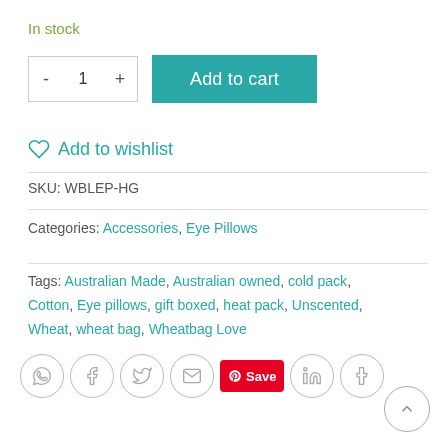In stock
- 1 + Add to cart
Add to wishlist
SKU: WBLEP-HG
Categories: Accessories, Eye Pillows
Tags: Australian Made, Australian owned, cold pack, Cotton, Eye pillows, gift boxed, heat pack, Unscented, Wheat, wheat bag, Wheatbag Love
[Figure (infographic): Social share buttons: WhatsApp, Facebook, Twitter, Email, Pinterest Save, LinkedIn, Tumblr. Back-to-top arrow button in bottom right.]